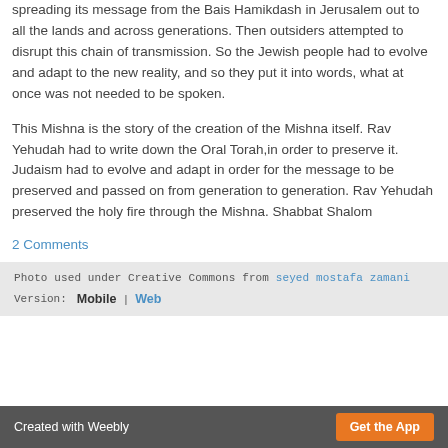spreading its message from the Bais Hamikdash in Jerusalem out to all the lands and across generations. Then outsiders attempted to disrupt this chain of transmission. So the Jewish people had to evolve and adapt to the new reality, and so they put it into words, what at once was not needed to be spoken.
This Mishna is the story of the creation of the Mishna itself. Rav Yehudah had to write down the Oral Torah,in order to preserve it. Judaism had to evolve and adapt in order for the message to be preserved and passed on from generation to generation. Rav Yehudah preserved the holy fire through the Mishna. Shabbat Shalom
2 Comments
Photo used under Creative Commons from seyed mostafa zamani
Version: Mobile | Web
Created with Weebly  Get the App